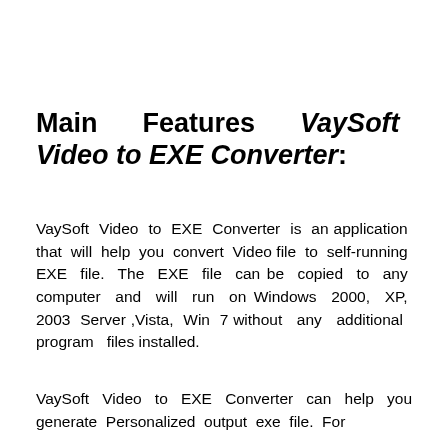Main Features VaySoft Video to EXE Converter:
VaySoft Video to EXE Converter is an application that will help you convert Video file to self-running EXE file. The EXE file can be copied to any computer and will run on Windows 2000, XP, 2003 Server ,Vista, Win 7 without any additional program files installed.
VaySoft Video to EXE Converter can help you generate Personalized output exe file. For